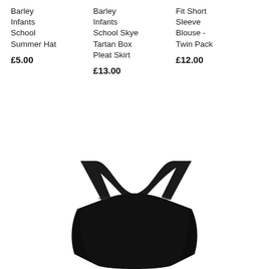Barley Infants School Summer Hat
£5.00
Barley Infants School Skye Tartan Box Pleat Skirt
£13.00
Fit Short Sleeve Blouse - Twin Pack
£12.00
[Figure (photo): A black sleeveless school leotard/swimsuit photographed on a white background, shown from the front/back view revealing the scoop back neckline.]